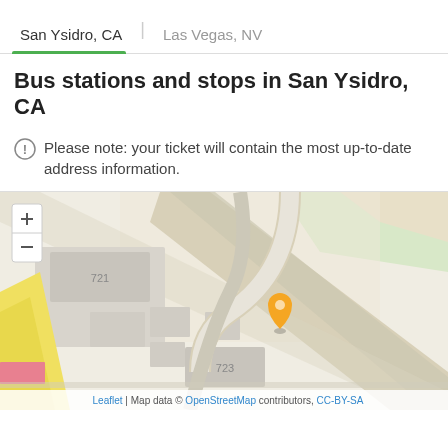San Ysidro, CA | Las Vegas, NV
Bus stations and stops in San Ysidro, CA
Please note: your ticket will contain the most up-to-date address information.
[Figure (map): Street map of San Ysidro, CA showing bus station location marked with an orange pin. Map includes street layout with buildings labeled 721 and 723, zoom controls in top-left, and OpenStreetMap attribution at bottom.]